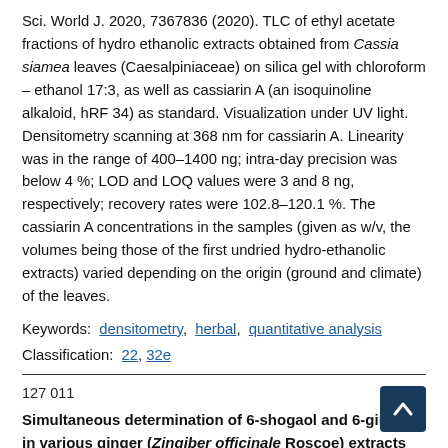Sci. World J. 2020, 7367836 (2020). TLC of ethyl acetate fractions of hydro ethanolic extracts obtained from Cassia siamea leaves (Caesalpiniaceae) on silica gel with chloroform – ethanol 17:3, as well as cassiarin A (an isoquinoline alkaloid, hRF 34) as standard. Visualization under UV light. Densitometry scanning at 368 nm for cassiarin A. Linearity was in the range of 400–1400 ng; intra-day precision was below 4 %; LOD and LOQ values were 3 and 8 ng, respectively; recovery rates were 102.8–120.1 %. The cassiarin A concentrations in the samples (given as w/v, the volumes being those of the first undried hydro-ethanolic extracts) varied depending on the origin (ground and climate) of the leaves.
Keywords: densitometry, herbal, quantitative analysis
Classification: 22, 32e
127 011
Simultaneous determination of 6-shogaol and 6-gingerol in various ginger (Zingiber officinale Roscoe) extracts and commercial formulations using a green RP-HPTLC-densitometric method